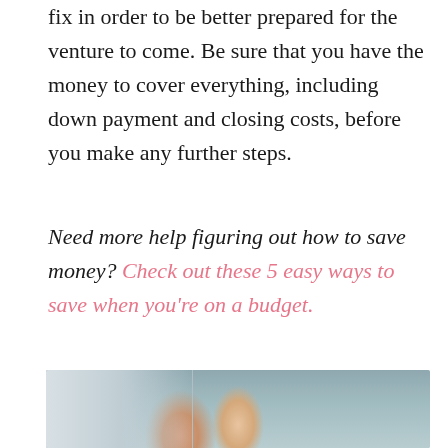fix in order to be better prepared for the venture to come. Be sure that you have the money to cover everything, including down payment and closing costs, before you make any further steps.
Need more help figuring out how to save money? Check out these 5 easy ways to save when you're on a budget.
[Figure (photo): A couple standing in a doorway of a home, smiling, likely moving in. The woman has long brown hair and is wearing a white outfit; a man stands behind her. The background shows interior home elements.]